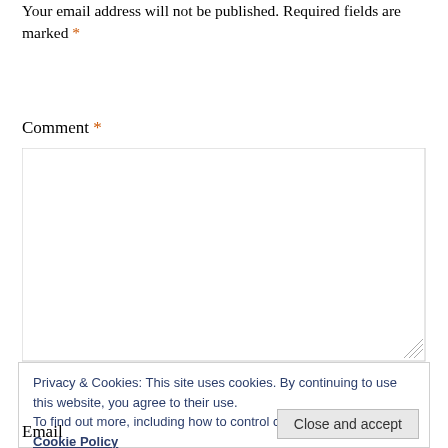Your email address will not be published. Required fields are marked *
Comment *
[Figure (other): Empty comment textarea input box with resize handle]
Privacy & Cookies: This site uses cookies. By continuing to use this website, you agree to their use.
To find out more, including how to control cookies, see here: Cookie Policy
Close and accept
Email